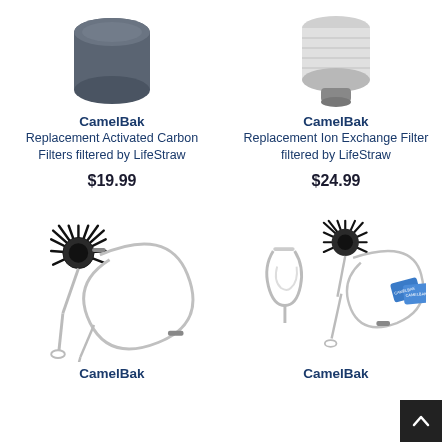[Figure (photo): CamelBak Replacement Activated Carbon Filter product image - dark grey cylindrical filter]
[Figure (photo): CamelBak Replacement Ion Exchange Filter product image - white/grey cylindrical filter]
CamelBak
Replacement Activated Carbon Filters filtered by LifeStraw
$19.99
CamelBak
Replacement Ion Exchange Filter filtered by LifeStraw
$24.99
[Figure (photo): CamelBak cleaning brush kit with large round bristle brush head and long flexible wire straw brush]
[Figure (photo): CamelBak cleaning kit with brush, hanger clip, flexible straw brush, and blue cleaning tabs]
CamelBak
CamelBak